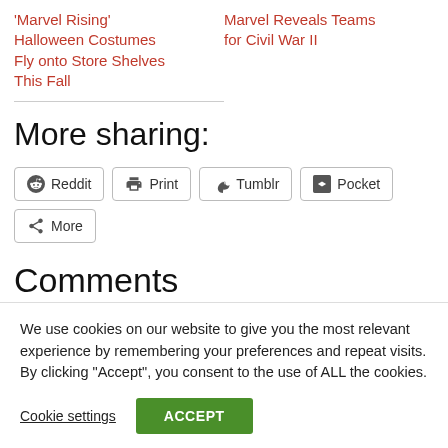'Marvel Rising' Halloween Costumes Fly onto Store Shelves This Fall
Marvel Reveals Teams for Civil War II
More sharing:
Reddit  Print  Tumblr  Pocket  More
Comments
We use cookies on our website to give you the most relevant experience by remembering your preferences and repeat visits. By clicking "Accept", you consent to the use of ALL the cookies.
Cookie settings  ACCEPT